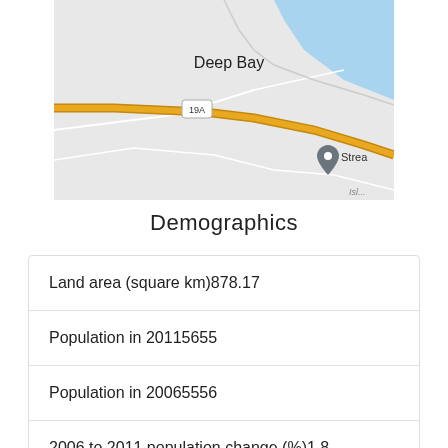[Figure (map): Google Maps screenshot showing Deep Bay area with highway 19A running diagonally, water body (blue) in upper right, and a map pin labeled 'Strea' (partially visible). Roads include 'Isl' (Island Highway) at bottom right.]
Demographics
| Land area (square km)878.17 |
| Population in 20115655 |
| Population in 20065556 |
| 2006 to 2011 population change (%)1.8 |